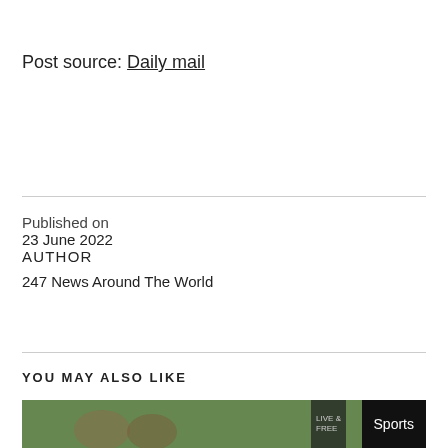Post source: Daily mail
Published on
23 June 2022
AUTHOR
247 News Around The World
YOU MAY ALSO LIKE
[Figure (photo): Photo of people on a green field with a Sports badge overlay in the bottom right corner]